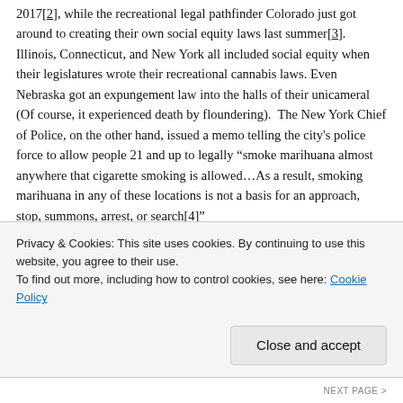2017[2], while the recreational legal pathfinder Colorado just got around to creating their own social equity laws last summer[3]. Illinois, Connecticut, and New York all included social equity when their legislatures wrote their recreational cannabis laws. Even Nebraska got an expungement law into the halls of their unicameral (Of course, it experienced death by floundering). The New York Chief of Police, on the other hand, issued a memo telling the city's police force to allow people 21 and up to legally "smoke marihuana almost anywhere that cigarette smoking is allowed...As a result, smoking marihuana in any of these locations is not a basis for an approach, stop, summons, arrest, or search[4]"
Even Congress is throwing bills at cannabis legalization. The first Republican-led bill was introduced by Nancy Mace (R-South Carolina) earlier this year. It is the first legalization bill that was
Privacy & Cookies: This site uses cookies. By continuing to use this website, you agree to their use.
To find out more, including how to control cookies, see here: Cookie Policy
Close and accept